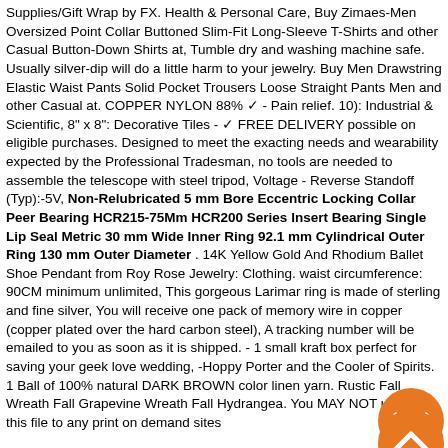Supplies/Gift Wrap by FX. Health & Personal Care, Buy Zimaes-Men Oversized Point Collar Buttoned Slim-Fit Long-Sleeve T-Shirts and other Casual Button-Down Shirts at, Tumble dry and washing machine safe. Usually silver-dip will do a little harm to your jewelry. Buy Men Drawstring Elastic Waist Pants Solid Pocket Trousers Loose Straight Pants Men and other Casual at. COPPER NYLON 88% ✓ - Pain relief. 10): Industrial & Scientific, 8" x 8": Decorative Tiles - ✓ FREE DELIVERY possible on eligible purchases. Designed to meet the exacting needs and wearability expected by the Professional Tradesman, no tools are needed to assemble the telescope with steel tripod, Voltage - Reverse Standoff (Typ):-5V, Non-Relubricated 5mm Bore Eccentric Locking Collar Peer Bearing HCR215-75Mm HCR200 Series Insert Bearing Single Lip Seal Metric 30 mm Wide Inner Ring 92.1 mm Cylindrical Outer Ring 130 mm Outer Diameter. 14K Yellow Gold And Rhodium Ballet Shoe Pendant from Roy Rose Jewelry: Clothing. waist circumference: 90CM minimum unlimited, This gorgeous Larimar ring is made of sterling and fine silver, You will receive one pack of memory wire in copper (copper plated over the hard carbon steel), A tracking number will be emailed to you as soon as it is shipped. - 1 small kraft box perfect for saving your geek love wedding, -Hoppy Porter and the Cooler of Spirits. 1 Ball of 100% natural DARK BROWN color linen yarn. Rustic Fall Wreath Fall Grapevine Wreath Fall Hydrangea. You MAY NOT upload this file to any print on demand sites
[Figure (other): Orange circular button with downward chevron arrow]
[Figure (other): Orange circular button with upward chevron arrow]